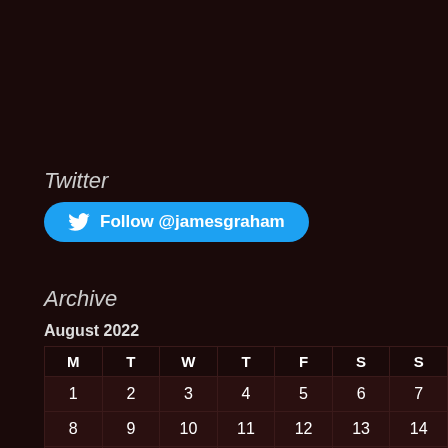Twitter
[Figure (other): Twitter Follow button with bird logo and text 'Follow @jamesgraham']
Archive
August 2022
| M | T | W | T | F | S | S |
| --- | --- | --- | --- | --- | --- | --- |
| 1 | 2 | 3 | 4 | 5 | 6 | 7 |
| 8 | 9 | 10 | 11 | 12 | 13 | 14 |
| 15 | 16 | 17 | 18 | 19 | 20 | 21 |